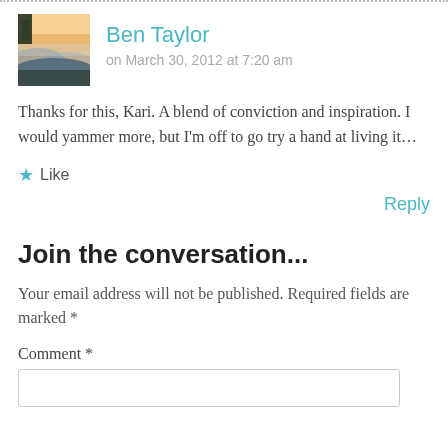Ben Taylor
on March 30, 2012 at 7:20 am
Thanks for this, Kari. A blend of conviction and inspiration. I would yammer more, but I'm off to go try a hand at living it…
★ Like
Reply
Join the conversation...
Your email address will not be published. Required fields are marked *
Comment *